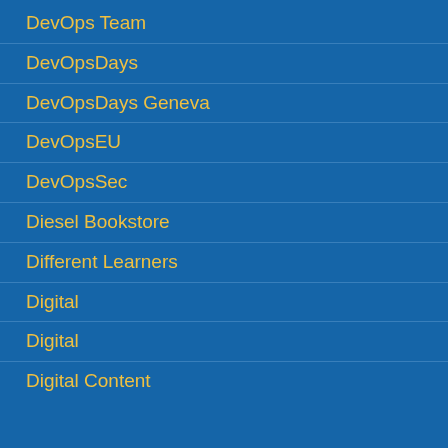DevOps Team
DevOpsDays
DevOpsDays Geneva
DevOpsEU
DevOpsSec
Diesel Bookstore
Different Learners
Digital
Digital
Digital Content